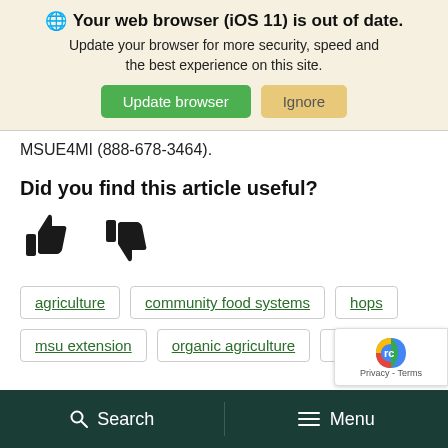[Figure (screenshot): Browser update notification banner with globe icon, bold text 'Your web browser (iOS 11) is out of date.', subtitle text, green Update browser button and tan Ignore button]
MSUE4MI (888-678-3464).
Did you find this article useful?
[Figure (illustration): Thumbs up and thumbs down icons for article rating]
agriculture  community food systems  hops  msu extension  organic agriculture  vegetables
[Figure (logo): reCAPTCHA badge with logo and Privacy - Terms text]
Search  Menu